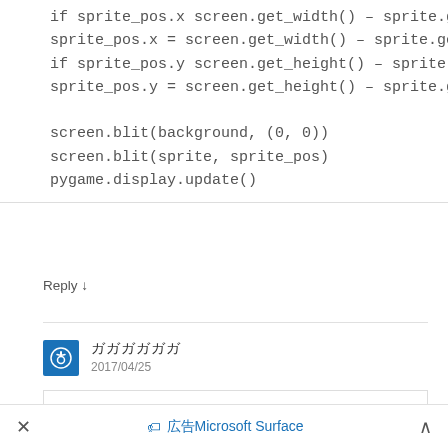if sprite_pos.x screen.get_width() – sprite.get_width():
sprite_pos.x = screen.get_width() – sprite.get_width()
if sprite_pos.y screen.get_height() – sprite.get_height():
sprite_pos.y = screen.get_height() – sprite.get_height()

screen.blit(background, (0, 0))
screen.blit(sprite, sprite_pos)
pygame.display.update()
Reply ↓
ガガガガガガ
2017/04/25
ガガガガガガガ,ガガガガガガガガ
event = pygame.event.poll()
🏷 広告Microsoft Surface